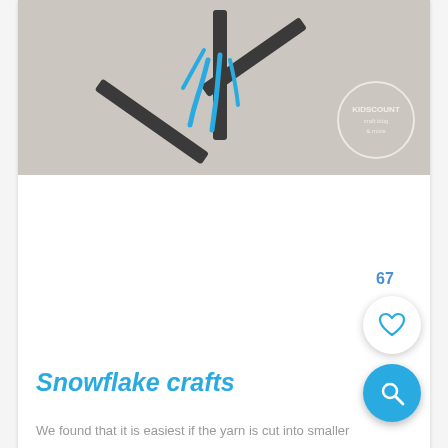[Figure (photo): Photo of a craft snowflake made from dark sticks and cyan/turquoise yarn on a light gray background, with a circular watermark logo in the bottom right of the image]
Snowflake crafts
We found that it is easiest if the yarn is cut into smaller